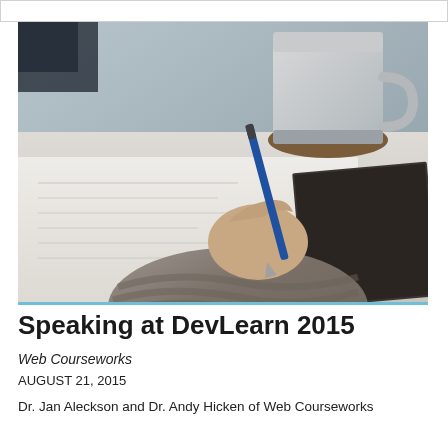[Figure (photo): A person's hand wearing a chunky knit sweater sleeve, holding a blue pen and writing on paper at a white wooden table. A white ceramic mug on a brown coaster and a dark notebook are visible in the background.]
Speaking at DevLearn 2015
Web Courseworks
AUGUST 21, 2015
Dr. Jan Aleckson and Dr. Andy Hicken of Web Courseworks